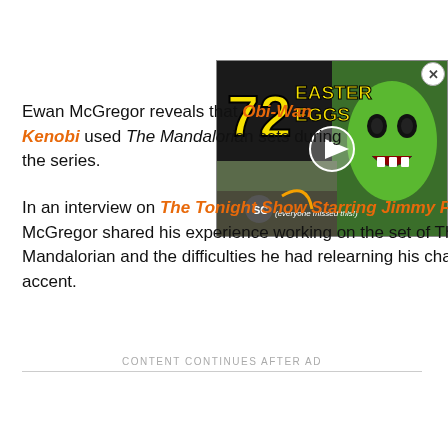[Figure (screenshot): Video overlay showing '72 Easter Eggs' thumbnail with a green-skinned character (She-Hulk) and Screen Crush logo, with a play button in the center. A close (X) button is in the top-right corner.]
Ewan McGregor reveals that Obi-Wan Kenobi used The Mandalorian sets during the series.
In an interview on The Tonight Show Starring Jimmy Fallon, McGregor shared his experience working on the set of The Mandalorian and the difficulties he had relearning his character's accent.
CONTENT CONTINUES AFTER AD